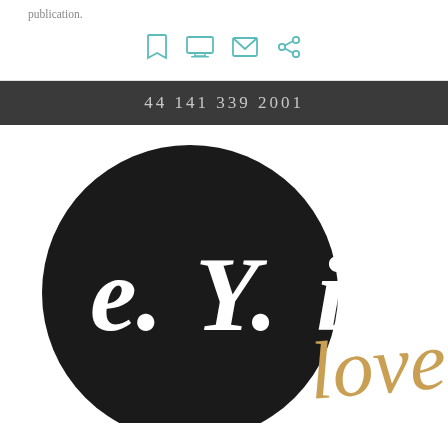publication.
[Figure (other): Icon row with bookmark, monitor, email, and share icons]
44 141 339 2001
[Figure (logo): e.Y.i love logo — black circle with white serif text 'e.Y.i' and gold cursive 'love' extending outside the circle]